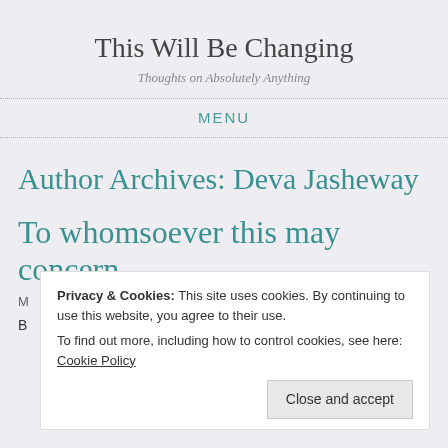This Will Be Changing
Thoughts on Absolutely Anything
MENU
Author Archives: Deva Jasheway
To whomsoever this may concern,
Privacy & Cookies: This site uses cookies. By continuing to use this website, you agree to their use.
To find out more, including how to control cookies, see here: Cookie Policy
Close and accept